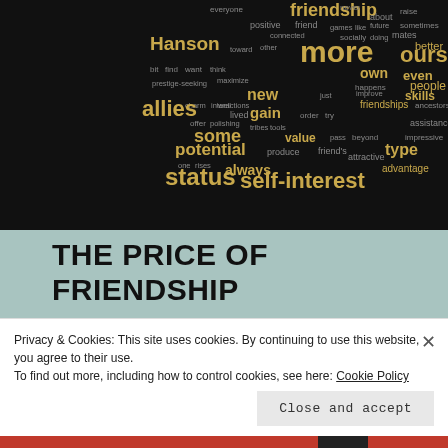[Figure (other): Word cloud on dark background with words related to friendship, self-interest, status, etc. Prominent words include: friendship, more, ourselves, self-interest, status, allies, potential, some, new, even, skills, people, friends, Hanson, gain, value, type, always, advantage]
THE PRICE OF FRIENDSHIP
Posted on October 7, 2019
The Elephant in the Brain by Kevin Simler and Robin
Privacy & Cookies: This site uses cookies. By continuing to use this website, you agree to their use.
To find out more, including how to control cookies, see here: Cookie Policy